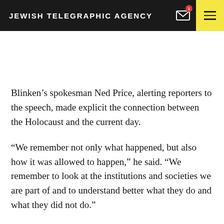JEWISH TELEGRAPHIC AGENCY
Blinken’s spokesman Ned Price, alerting reporters to the speech, made explicit the connection between the Holocaust and the current day.
“We remember not only what happened, but also how it was allowed to happen,” he said. “We remember to look at the institutions and societies we are part of and to understand better what they do and what they did not do.”